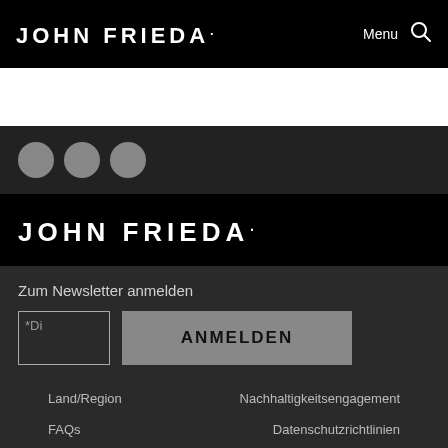JOHN FRIEDA.  Menu 🔍
[Figure (other): White band placeholder area]
[Figure (other): Three gray circles on dark background — pagination dots]
JOHN FRIEDA.
Zum Newsletter anmelden
[Figure (other): Email input box with placeholder text *Di and ANMELDEN button]
Land/Region
Nachhaltigkeitsengagement
FAQs
Datenschutzrichtlinien